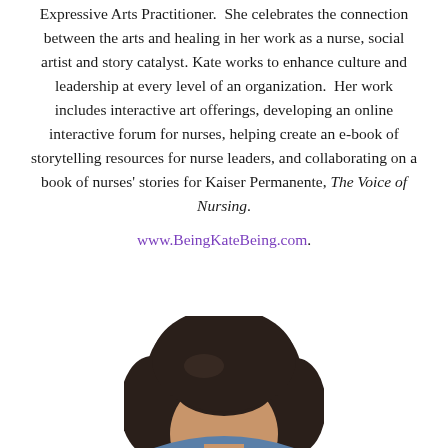Expressive Arts Practitioner. She celebrates the connection between the arts and healing in her work as a nurse, social artist and story catalyst. Kate works to enhance culture and leadership at every level of an organization. Her work includes interactive art offerings, developing an online interactive forum for nurses, helping create an e-book of storytelling resources for nurse leaders, and collaborating on a book of nurses' stories for Kaiser Permanente, The Voice of Nursing. www.BeingKateBeing.com.
[Figure (photo): Partial headshot photo of a person with dark hair, cropped at the bottom of the page, showing the top of the head]